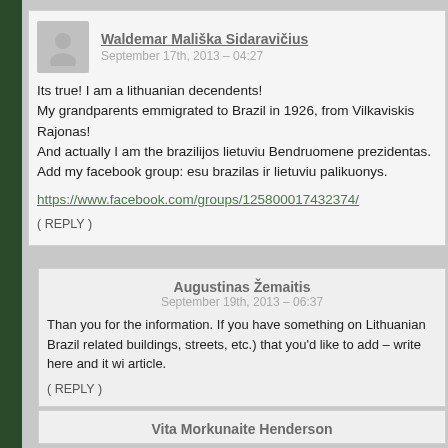Waldemar Mališka Sidaravičius
September 17th, 2013 - 04:27
Its true! I am a lithuanian decendents!
My grandparents emmigrated to Brazil in 1926, from Vilkaviskis Rajonas!
And actually I am the brazilijos lietuviu Bendruomene prezidentas.
Add my facebook group: esu brazilas ir lietuviu palikuonys.
https://www.facebook.com/groups/125800017432374/
( REPLY )
Augustinas Žemaitis
September 19th, 2013 - 06:37
Than you for the information. If you have something on Lithuanian Brazil related buildings, streets, etc.) that you'd like to add – write here and it wi article.
( REPLY )
Vita Morkunaite Henderson